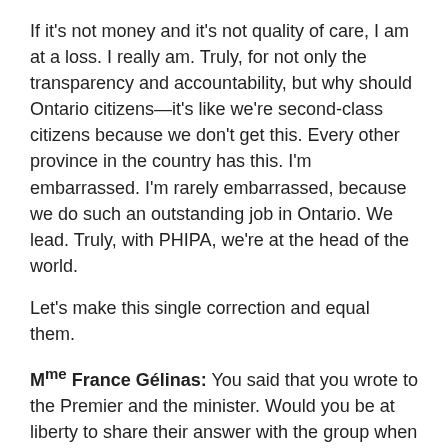If it's not money and it's not quality of care, I am at a loss. I really am. Truly, for not only the transparency and accountability, but why should Ontario citizens—it's like we're second-class citizens because we don't get this. Every other province in the country has this. I'm embarrassed. I'm rarely embarrassed, because we do such an outstanding job in Ontario. We lead. Truly, with PHIPA, we're at the head of the world.
Let's make this single correction and equal them.
Mme France Gélinas: You said that you wrote to the Premier and the minister. Would you be at liberty to share their answer with the group when you get an answer?
Dr. Ann Cavoukian: I've already gotten answers. They've both been very responsive. They're certainly interested in promoting transparency. The Premier said that he would seriously consider it. I recently met with the Minister of Health; she was very interested as well. I think her